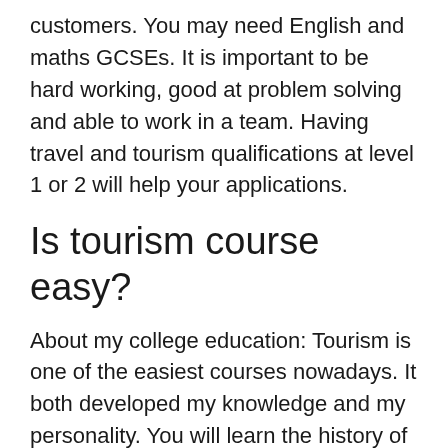customers. You may need English and maths GCSEs. It is important to be hard working, good at problem solving and able to work in a team. Having travel and tourism qualifications at level 1 or 2 will help your applications.
Is tourism course easy?
About my college education: Tourism is one of the easiest courses nowadays. It both developed my knowledge and my personality. You will learn the history of different places around the world.
What course is for flight attendant?